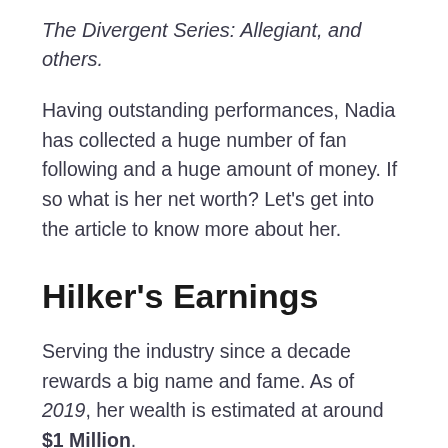The Divergent Series: Allegiant, and others.
Having outstanding performances, Nadia has collected a huge number of fan following and a huge amount of money. If so what is her net worth? Let's get into the article to know more about her.
Hilker's Earnings
Serving the industry since a decade rewards a big name and fame. As of 2019, her wealth is estimated at around $1 Million.
How did the star accumulate such high fortunes?